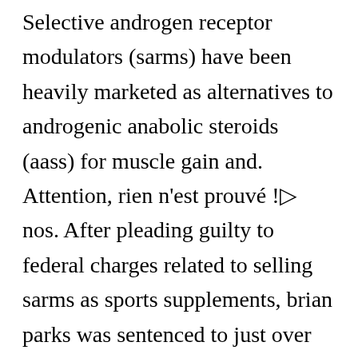Selective androgen receptor modulators (sarms) have been heavily marketed as alternatives to androgenic anabolic steroids (aass) for muscle gain and. Attention, rien n'est prouvé !▷ nos. After pleading guilty to federal charges related to selling sarms as sports supplements, brian parks was sentenced to just over one year in. Sarms skladem – v balíčcích nebo samostatně. Ibutamoren mk677, ligandrol, ostarine, cardarine, rad140. Sarms : encontre aqui 10 diversos produtos em promoção, além de